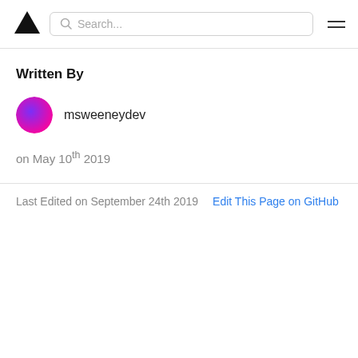Search...
Written By
msweeneydev
on May 10th 2019
Last Edited on September 24th 2019  Edit This Page on GitHub